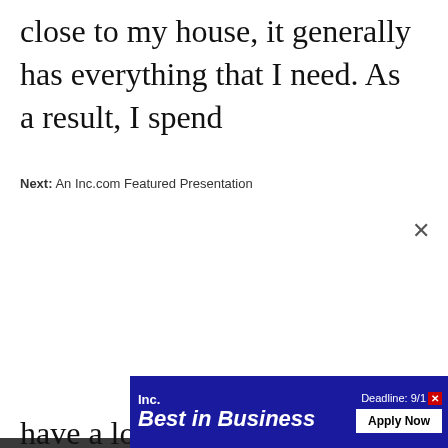close to my house, it generally has everything that I need. As a result, I spend
Next: An Inc.com Featured Presentation
[Figure (screenshot): Video player showing error message: 'The video cannot be played in this browser. (Error Code: 242632)' with a play icon on a dark background, and a close (X) button in the top right.]
have a loyalty card that rewards me for shop
[Figure (screenshot): Inc. Best in Business advertisement banner with 'Deadline: 9/1' text, an X close button, and an 'Apply Now' button.]